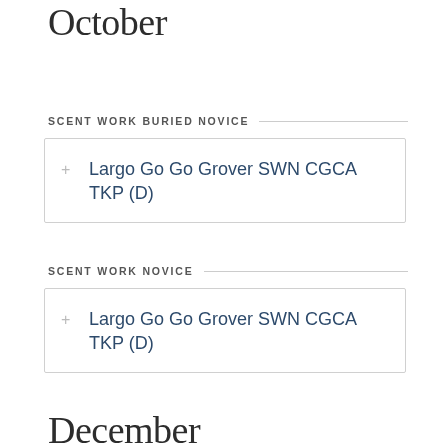October
SCENT WORK BURIED NOVICE
Largo Go Go Grover SWN CGCA TKP (D)
SCENT WORK NOVICE
Largo Go Go Grover SWN CGCA TKP (D)
December